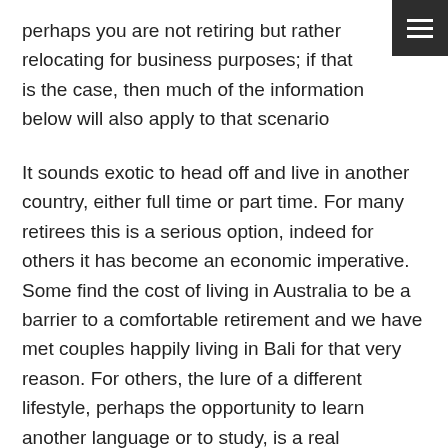perhaps you are not retiring but rather relocating for business purposes; if that is the case, then much of the information below will also apply to that scenario
It sounds exotic to head off and live in another country, either full time or part time. For many retirees this is a serious option, indeed for others it has become an economic imperative. Some find the cost of living in Australia to be a barrier to a comfortable retirement and we have met couples happily living in Bali for that very reason. For others, the lure of a different lifestyle, perhaps the opportunity to learn another language or to study, is a real drawcard.